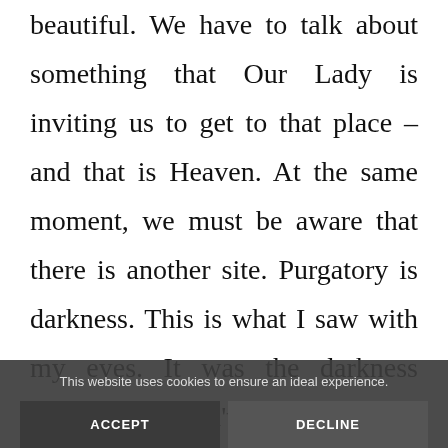beautiful. We have to talk about something that Our Lady is inviting us to get to that place – and that is Heaven. At the same moment, we must be aware that there is another site. Purgatory is darkness. This is what I saw with my eyes. It was the darkness where we couldn't see any
This website uses cookies to ensure an ideal experience.
ACCEPT
DECLINE